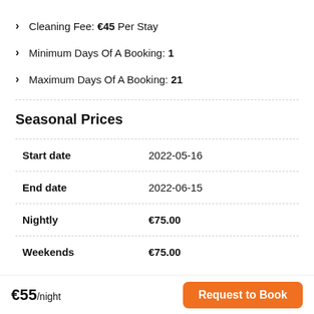Cleaning Fee: €45 Per Stay
Minimum Days Of A Booking: 1
Maximum Days Of A Booking: 21
Seasonal Prices
| Field | Value |
| --- | --- |
| Start date | 2022-05-16 |
| End date | 2022-06-15 |
| Nightly | €75.00 |
| Weekends | €75.00 |
€55/night
Request to Book